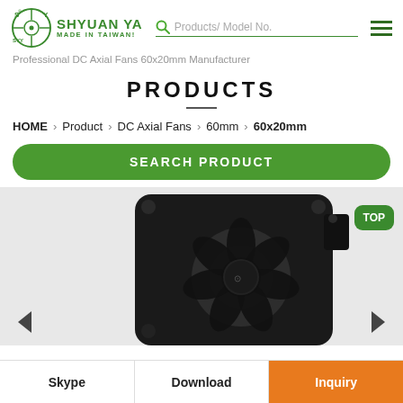SHYUAN YA - MADE IN TAIWAN! - Products/Model No. search bar - Professional DC Axial Fans 60x20mm Manufacturer
PRODUCTS
HOME > Product > DC Axial Fans > 60mm > 60x20mm
SEARCH PRODUCT
[Figure (photo): Close-up photo of a black DC axial fan 60x20mm, showing fan blades and frame with mounting holes]
Skype | Download | Inquiry